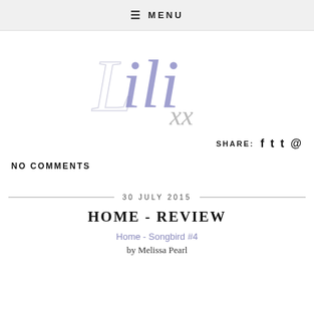≡ MENU
[Figure (logo): Stylized cursive blog logo showing 'Lili xx' in purple/lavender script with light grey accents]
SHARE: f t t p
NO COMMENTS
30 JULY 2015
HOME - REVIEW
Home - Songbird #4
by Melissa Pearl